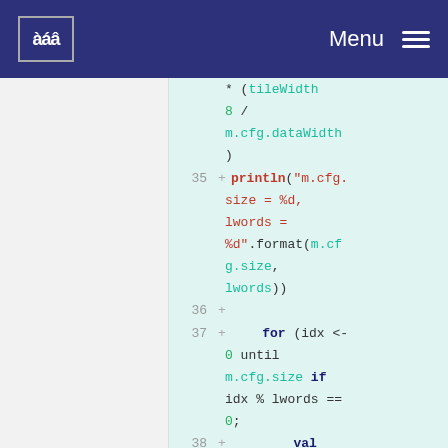CSS Logo | Menu
[Figure (screenshot): Code editor diff view showing Scala code lines 35-38 with added lines highlighted in green. Line 35: println("m.cfg.size = %d, lwords = %d".format(m.cfg.size, lwords)); Line 36: empty; Line 37: for (idx <- 0 until m.cfg.size if idx % lwords == 0); Line 38: val words = for (i <- 0 until lwords).yield]